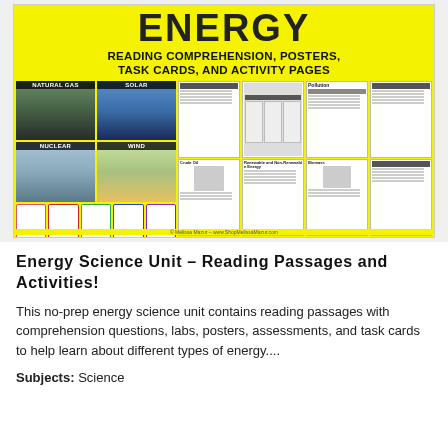[Figure (illustration): Educational product cover image for an Energy Science Unit showing a yellow banner with 'ENERGY' in large bold letters, subtitle 'READING COMPREHENSION, POSTERS, TASK CARDS, AND ACTIVITY PAGES', and thumbnail images of posters (Natural Gas, Solar, Nuclear, Wind), worksheets (Pollution, Crude Oil, Biomass, Renewable and Non-Renewable Energy), and task cards. Copyright: Melissa Mazur - www.ShopMelissaMazur.com]
Energy Science Unit – Reading Passages and Activities!
This no-prep energy science unit contains reading passages with comprehension questions, labs, posters, assessments, and task cards to help learn about different types of energy....
Subjects: Science